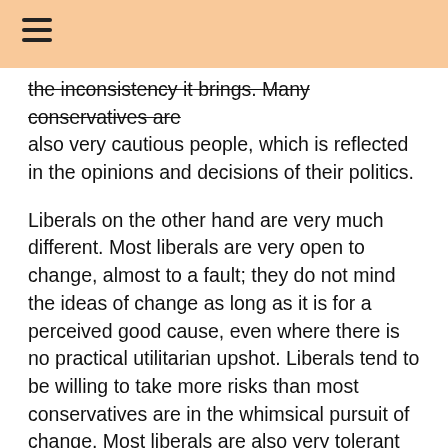☰
the inconsistency it brings. Many conservatives are also very cautious people, which is reflected in the opinions and decisions of their politics.
Liberals on the other hand are very much different. Most liberals are very open to change, almost to a fault; they do not mind the ideas of change as long as it is for a perceived good cause, even where there is no practical utilitarian upshot. Liberals tend to be willing to take more risks than most conservatives are in the whimsical pursuit of change. Most liberals are also very tolerant of behavior different from their own, as well as they are willing to open their minds to new ideas and concepts easier than the conservative counterparts. Liberals also like to push for change